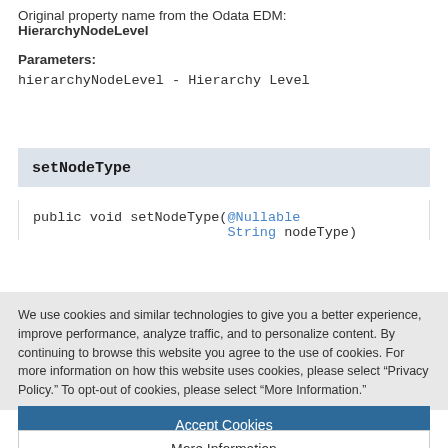Original property name from the Odata EDM: HierarchyNodeLevel
Parameters:
hierarchyNodeLevel - Hierarchy Level
setNodeType
public void setNodeType(@Nullable String nodeType)
We use cookies and similar technologies to give you a better experience, improve performance, analyze traffic, and to personalize content. By continuing to browse this website you agree to the use of cookies. For more information on how this website uses cookies, please select “Privacy Policy.” To opt-out of cookies, please select “More Information.”
Accept Cookies
More Information
Privacy Policy | Powered by: TrustArc
protected String getEntityCollection()